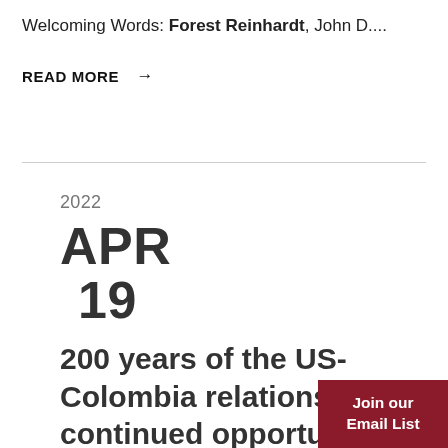Welcoming Words: Forest Reinhardt, John D....
READ MORE →
2022
APR
19
200 years of the US-Colombia relationship: continued opportunities partnership and growth
Join our Email List